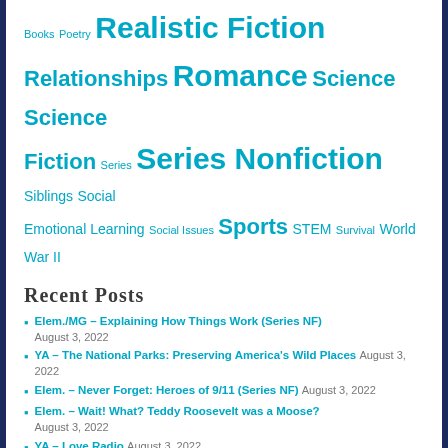Books Poetry Realistic Fiction Relationships Romance Science Science Fiction Series Series Nonfiction Siblings Social Emotional Learning Social Issues Sports STEM Survival World War II
Recent Posts
Elem./MG – Explaining How Things Work (Series NF) August 3, 2022
YA – The National Parks: Preserving America's Wild Places August 3, 2022
Elem. – Never Forget: Heroes of 9/11 (Series NF) August 3, 2022
Elem. – Wait! What? Teddy Roosevelt was a Moose? August 3, 2022
YA – Love Radio August 3, 2022
Elem./MG – Mapmakers and the Lost Magic August 2, 2022
Elem./MG – Super Troop August 2, 2022